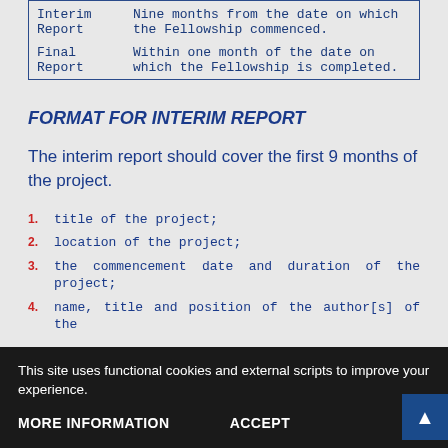| Report Type | Deadline |
| --- | --- |
| Interim Report | Nine months from the date on which the Fellowship commenced. |
| Final Report | Within one month of the date on which the Fellowship is completed. |
FORMAT FOR INTERIM REPORT
The interim report should cover the first 9 months of the project.
title of the project;
location of the project;
the commencement date and duration of the project;
name, title and position of the author[s] of the
This site uses functional cookies and external scripts to improve your experience.